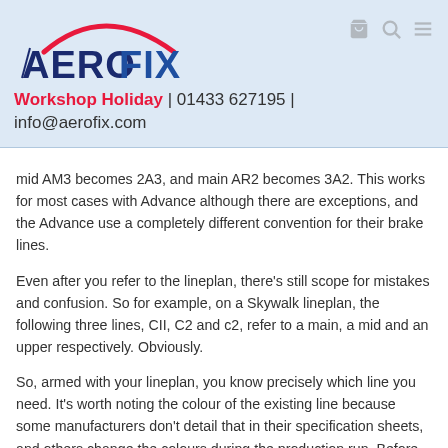[Figure (logo): Aerofix logo with red arc above stylized text 'AEROFIX' in blue]
Workshop Holiday | 01433 627195 | info@aerofix.com
mid AM3 becomes 2A3, and main AR2 becomes 3A2. This works for most cases with Advance although there are exceptions, and the Advance use a completely different convention for their brake lines.
Even after you refer to the lineplan, there's still scope for mistakes and confusion. So for example, on a Skywalk lineplan, the following three lines, CII, C2 and c2, refer to a main, a mid and an upper respectively. Obviously.
So, armed with your lineplan, you know precisely which line you need. It's worth noting the colour of the existing line because some manufacturers don't detail that in their specification sheets, and others change the colours during the production run. Before you order, also make sure you know your glider and size. I know it sounds obvious, but we